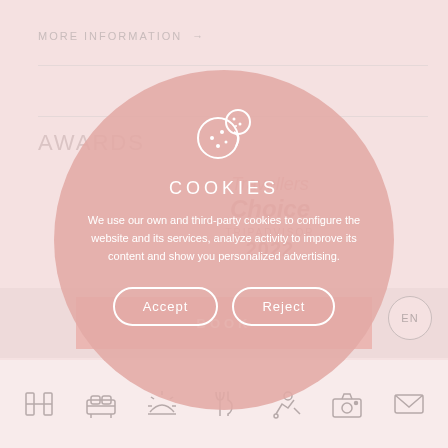MORE INFORMATION →
AWARDS
[Figure (screenshot): Cookie consent modal overlay displayed on a hotel website. The modal is a large pink/salmon circle containing a cookie icon, the heading COOKIES, explanatory text about cookie usage, and two buttons: Accept and Reject. Behind the modal, the website shows a MORE INFORMATION link, an AWARDS section with Travellers Choice 2022 badge, a BOOK button, an EN language selector, and a bottom navigation icon bar with hotel, bed, sunrise, dining, activities, camera, and envelope icons.]
COOKIES
We use our own and third-party cookies to configure the website and its services, analyze activity to improve its content and show you personalized advertising.
Accept
Reject
BOOK
EN